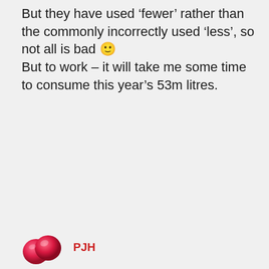But they have used 'fewer' rather than the commonly incorrectly used 'less', so not all is bad 🙂 But to work – it will take me some time to consume this year's 53m litres.
[Figure (illustration): User avatar: two overlapping pink/red spheres resembling cherries or bubbles]
PJH